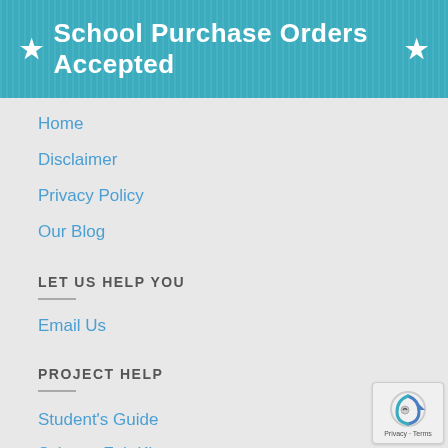★ School Purchase Orders Accepted ★
Home
Disclaimer
Privacy Policy
Our Blog
LET US HELP YOU
Email Us
PROJECT HELP
Student's Guide
Science Fair Kits